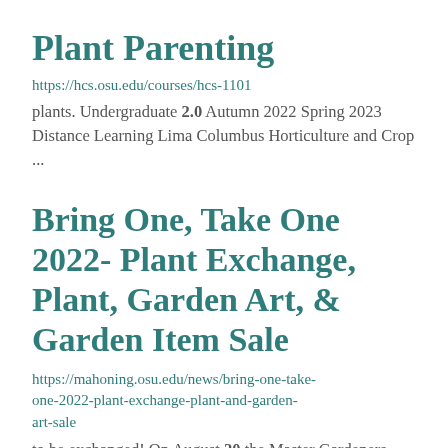Plant Parenting
https://hcs.osu.edu/courses/hcs-1101
plants. Undergraduate 2.0 Autumn 2022 Spring 2023 Distance Learning Lima Columbus Horticulture and Crop ...
Bring One, Take One 2022- Plant Exchange, Plant, Garden Art, & Garden Item Sale
https://mahoning.osu.edu/news/bring-one-take-one-2022-plant-exchange-plant-and-garden-art-sale
to be exchanged! On August 20 the Master Gardeners will host the annual Bring One